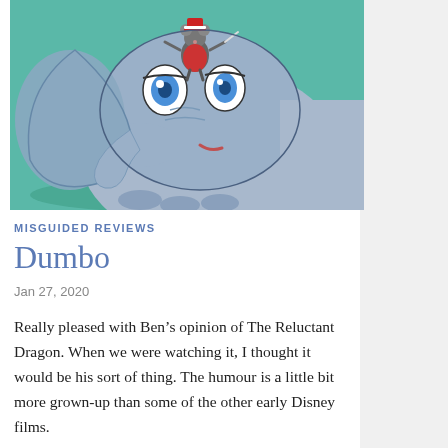[Figure (illustration): Animated still from Dumbo (1941) showing Timothy Mouse in a red outfit standing on Dumbo the elephant's head. Dumbo has large blue eyes and a light blue/grey body. Background is teal/green.]
MISGUIDED REVIEWS
Dumbo
Jan 27, 2020
Really pleased with Ben’s opinion of The Reluctant Dragon. When we were watching it, I thought it would be his sort of thing. The humour is a little bit more grown-up than some of the other early Disney films.
So, on to Dumbo. Coming out of the WDAS in 1941, many